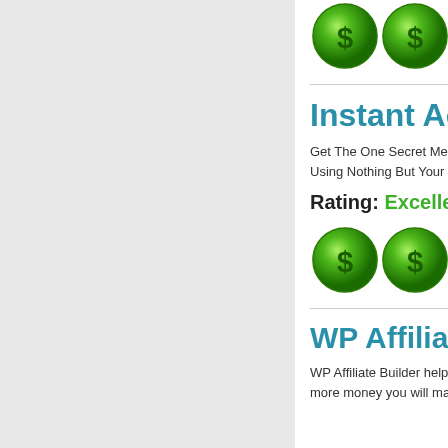[Figure (illustration): Four green dollar coin icons in a row at the top of the right panel]
Instant Acces
Get The One Secret Metho... Using Nothing But Your La...
Rating: Excellent
[Figure (illustration): Four green dollar coin icons in a row in the lower right panel]
WP Affiliate P
WP Affiliate Builder helps y... more money you will make...
[Figure (photo): Broken image placeholder in the left panel]